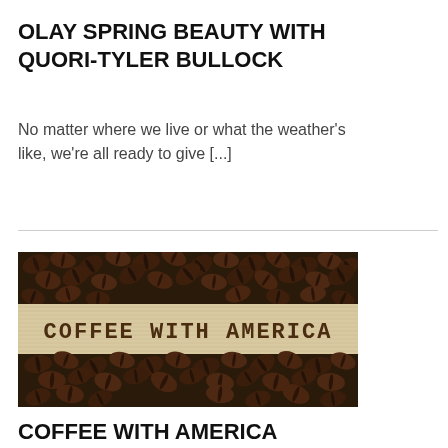OLAY SPRING BEAUTY WITH QUORI-TYLER BULLOCK
No matter where we live or what the weather's like, we're all ready to give [...]
[Figure (photo): Coffee beans spread around a burlap banner reading 'COFFEE WITH AMERICA']
COFFEE WITH AMERICA EPISODE 222